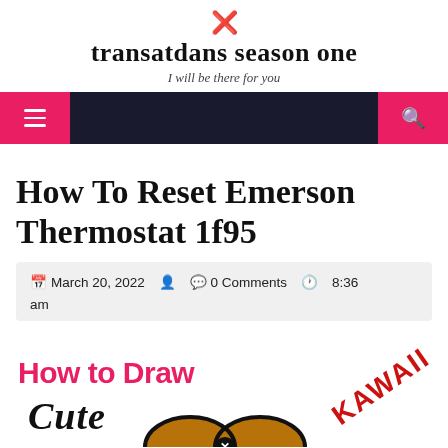transatdans season one — I will be there for you
How To Reset Emerson Thermostat 1f95
March 20, 2022  0 Comments  8:36 am
[Figure (illustration): How to Draw Cute Kawaii illustration — partial image of cartoon cute character with 'How to Draw Cute' text in pink and black, and 'KAWAII' text in red at an angle]